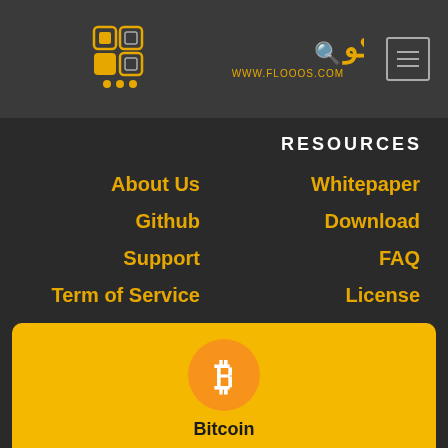[Figure (logo): Flooos.com logo with Arabic text and WWW.FLOOOS.COM URL, yellow and white on dark background]
RESOURCES
About Us
Whitepaper
Github
Download
Support
FAQ
Term of Service
License
[Figure (infographic): Bitcoin card with orange bitcoin logo icon, label Bitcoin, and three stats: 7d %, 24h %, 1h %]